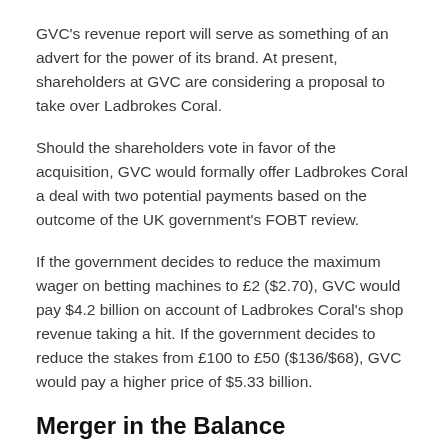GVC's revenue report will serve as something of an advert for the power of its brand. At present, shareholders at GVC are considering a proposal to take over Ladbrokes Coral.
Should the shareholders vote in favor of the acquisition, GVC would formally offer Ladbrokes Coral a deal with two potential payments based on the outcome of the UK government's FOBT review.
If the government decides to reduce the maximum wager on betting machines to £2 ($2.70), GVC would pay $4.2 billion on account of Ladbrokes Coral's shop revenue taking a hit. If the government decides to reduce the stakes from £100 to £50 ($136/$68), GVC would pay a higher price of $5.33 billion.
Merger in the Balance